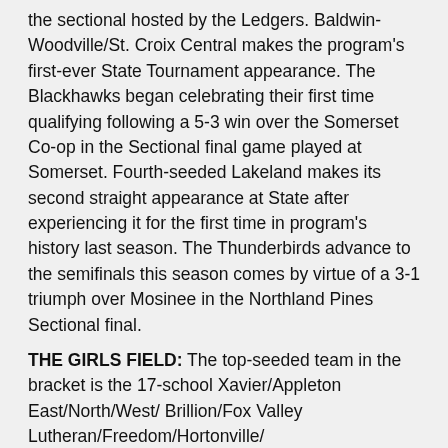the sectional hosted by the Ledgers. Baldwin-Woodville/St. Croix Central makes the program's first-ever State Tournament appearance. The Blackhawks began celebrating their first time qualifying following a 5-3 win over the Somerset Co-op in the Sectional final game played at Somerset. Fourth-seeded Lakeland makes its second straight appearance at State after experiencing it for the first time in program's history last season. The Thunderbirds advance to the semifinals this season comes by virtue of a 3-1 triumph over Mosinee in the Northland Pines Sectional final.
THE GIRLS FIELD: The top-seeded team in the bracket is the 17-school Xavier/Appleton East/North/West/ Brillion/Fox Valley Lutheran/Freedom/Hortonville/ Kaukauna/Kimberly/Little Chute/Menasha/Neenah/New London/St. Mary Catholic/Two Rivers/Wrightstown Co-op. This rendition of the co-op makes its first appearance at State. A different version of the Fox Cities Stars Co-op won the State title in each of their first two appearances in the tournament. Those came back-to-back in 2019 and 2020. To qualify for State this year,  Xavier Co-op defeated the Green Bay East Co-op 7-6 in a relatively high-scoring affair in the Arrowhead Sectional final. The D.C. Everest/Marathon/Merrill/Mosinee/ Wausau East/ Wausau West